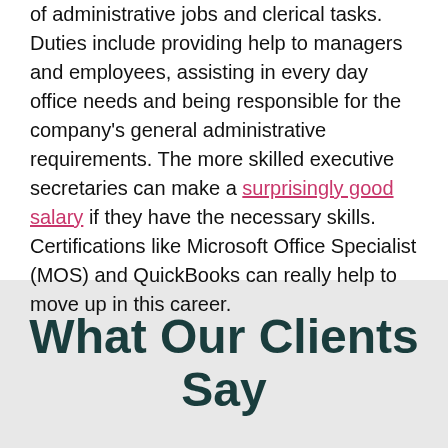of administrative jobs and clerical tasks. Duties include providing help to managers and employees, assisting in every day office needs and being responsible for the company's general administrative requirements. The more skilled executive secretaries can make a surprisingly good salary if they have the necessary skills. Certifications like Microsoft Office Specialist (MOS) and QuickBooks can really help to move up in this career.
What Our Clients Say